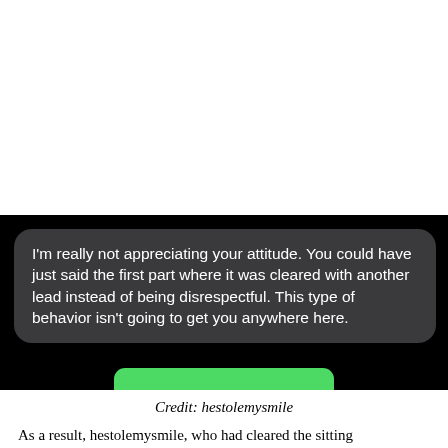[Figure (screenshot): Screenshot of a text message bubble on a dark/black background. The bubble (dark gray, rounded) reads: "I'm really not appreciating your attitude. You could have just said the first part where it was cleared with another lead instead of being disrespectful. This type of behavior isn't going to get you anywhere here." A green bar is partially visible at the bottom.]
Credit: hestolemysmile
As a result, hestolemysmile, who had cleared the sitting